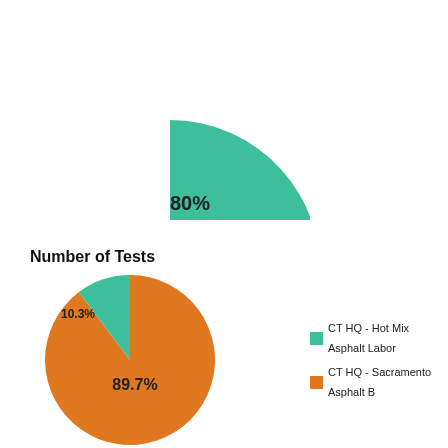[Figure (pie-chart): ]
Number of Tests
[Figure (pie-chart): Number of Tests]